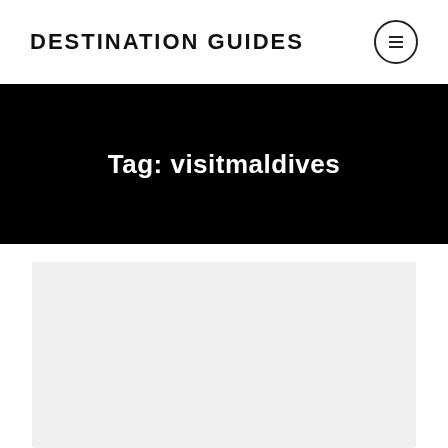DESTINATION GUIDES
Tag: visitmaldives
[Figure (photo): Light grey placeholder card/image area below the tag banner]